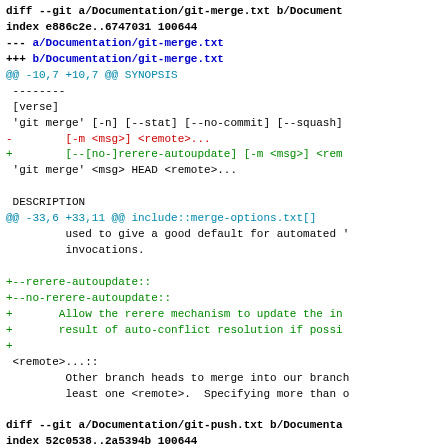diff --git a/Documentation/git-merge.txt b/Documentation/git-merge.txt
index e886c2e..6747031 100644
--- a/Documentation/git-merge.txt
+++ b/Documentation/git-merge.txt
@@ -10,7 +10,7 @@ SYNOPSIS
 --------
 [verse]
 'git merge' [-n] [--stat] [--no-commit] [--squash]
-        [-m <msg>] <remote>...
+        [--[no-]rerere-autoupdate] [-m <msg>] <remote>...
 'git merge' <msg> HEAD <remote>...

 DESCRIPTION
@@ -33,6 +33,11 @@ include::merge-options.txt[]
         used to give a good default for automated '
         invocations.

+--rerere-autoupdate::
+--no-rerere-autoupdate::
+       Allow the rerere mechanism to update the in
+       result of auto-conflict resolution if possi
+
 <remote>...:: 
         Other branch heads to merge into our branch
         least one <remote>.  Specifying more than o

diff --git a/Documentation/git-push.txt b/Documentation/git-push.txt
index 52c0538..2a5394b 100644
--- a/Documentation/git-push.txt
+++ b/Documentation/git-push.txt
@@ -10,7 +10,7 @@ SYNOPSIS